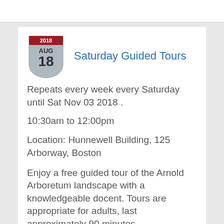Saturday Guided Tours
Repeats every week every Saturday until Sat Nov 03 2018 .
10:30am to 12:00pm
Location: Hunnewell Building, 125 Arborway, Boston
Enjoy a free guided tour of the Arnold Arboretum landscape with a knowledgeable docent. Tours are appropriate for adults, last approximately 90 minutes,...
Learn to Observe: Tree Spotter